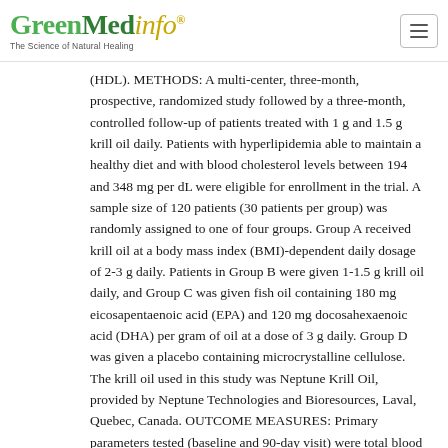GreenMedinfo® — The Science of Natural Healing
(HDL). METHODS: A multi-center, three-month, prospective, randomized study followed by a three-month, controlled follow-up of patients treated with 1 g and 1.5 g krill oil daily. Patients with hyperlipidemia able to maintain a healthy diet and with blood cholesterol levels between 194 and 348 mg per dL were eligible for enrollment in the trial. A sample size of 120 patients (30 patients per group) was randomly assigned to one of four groups. Group A received krill oil at a body mass index (BMI)-dependent daily dosage of 2-3 g daily. Patients in Group B were given 1-1.5 g krill oil daily, and Group C was given fish oil containing 180 mg eicosapentaenoic acid (EPA) and 120 mg docosahexaenoic acid (DHA) per gram of oil at a dose of 3 g daily. Group D was given a placebo containing microcrystalline cellulose. The krill oil used in this study was Neptune Krill Oil, provided by Neptune Technologies and Bioresources, Laval, Quebec, Canada. OUTCOME MEASURES: Primary parameters tested (baseline and 90-day visit) were total blood cholesterol, triglycerides, LDL, HDL, and glucose.